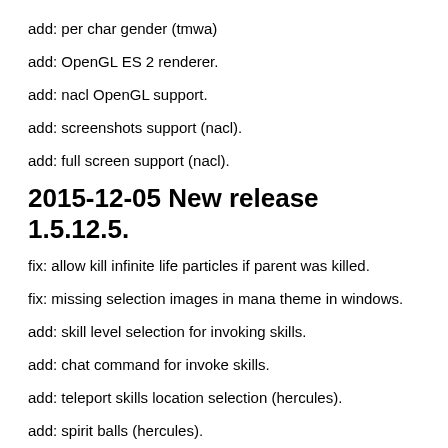add: per char gender (tmwa)
add: OpenGL ES 2 renderer.
add: nacl OpenGL support.
add: screenshots support (nacl).
add: full screen support (nacl).
2015-12-05 New release 1.5.12.5.
fix: allow kill infinite life particles if parent was killed.
fix: missing selection images in mana theme in windows.
add: skill level selection for invoking skills.
add: chat command for invoke skills.
add: teleport skills location selection (hercules).
add: spirit balls (hercules).
add: basic OpenGL support in nacl.